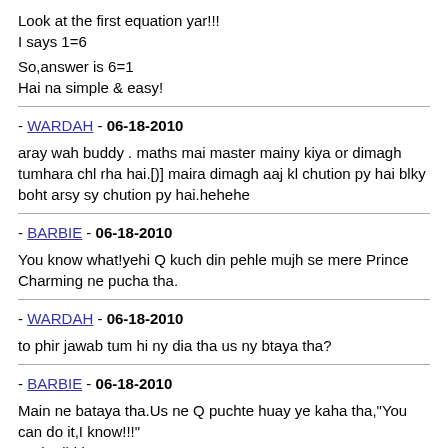Look at the first equation yar!!!
I says 1=6

So,answer is 6=1
Hai na simple & easy!
- WARDAH - 06-18-2010
aray wah buddy . maths mai master mainy kiya or dimagh tumhara chl rha hai.[)] maira dimagh aaj kl chution py hai blky boht arsy sy chution py hai.hehehe
- BARBIE - 06-18-2010
You know what!yehi Q kuch din pehle mujh se mere Prince Charming ne pucha tha.
- WARDAH - 06-18-2010
to phir jawab tum hi ny dia tha us ny btaya tha?
- BARBIE - 06-18-2010
Main ne bataya tha.Us ne Q puchte huay ye kaha tha,"You can do it,I know!!!"
And I did it!